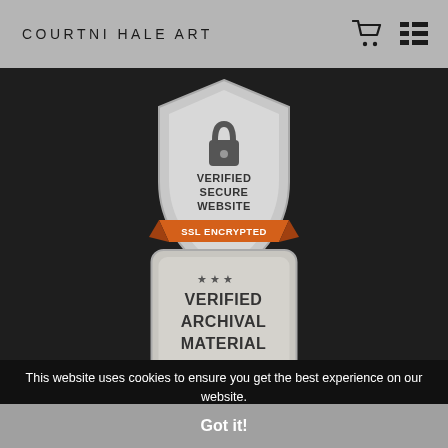COURTNI HALE ART
[Figure (logo): Verified Secure Website SSL Encrypted shield badge with orange ribbon and padlock icon]
[Figure (logo): Verified Archival Material Fine Art badge with orange text and ribbon/medal design]
This website uses cookies to ensure you get the best experience on our website.
Got it!